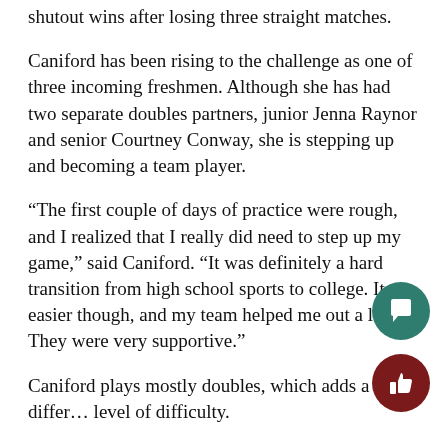shutout wins after losing three straight matches.
Caniford has been rising to the challenge as one of three incoming freshmen. Although she has had two separate doubles partners, junior Jenna Raynor and senior Courtney Conway, she is stepping up and becoming a team player.
“The first couple of days of practice were rough, and I realized that I really did need to step up my game,” said Caniford. “It was definitely a hard transition from high school sports to college. It got easier though, and my team helped me out a lot. They were very supportive.”
Caniford plays mostly doubles, which adds a differ… level of difficulty.
“It’s not that I don’t like singles, I just really like